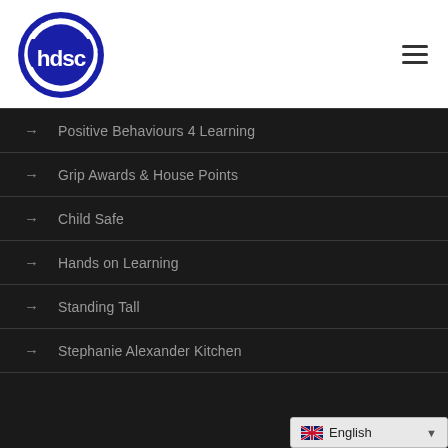[Figure (logo): HDSC Hanning & Districts Secondary College circular logo in dark blue]
Positive Behaviours 4 Learning
Grip Awards & House Points
Child Safe
Hands on Learning
Standing Tall
Stephanie Alexander Kitchen
English